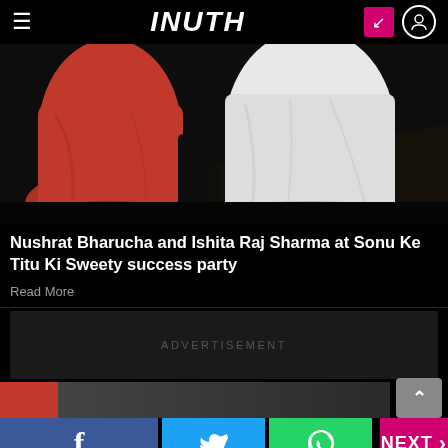INUTH
[Figure (photo): Photo of two women in long gowns — one in red, one in white — at Sonu Ke Titu Ki Sweety success party, showing dresses from the waist down on a dark floor.]
Nushrat Bharucha and Ishita Raj Sharma at Sonu Ke Titu Ki Sweety success party
Read More
ADVERTISEMENT
NEXT